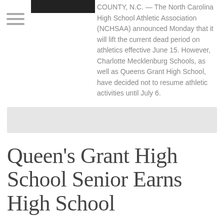[Figure (photo): Small thumbnail image at top, appears to be a sports/athletics related photo]
COUNTY, N.C. — The North Carolina High School Athletic Association (NCHSAA) announced Monday that it will lift the current dead period on athletics effective June 15. However, Charlotte Mecklenburg Schools, as well as Queens Grant High School, have decided not to resume athletic activities until July 6.
[Figure (other): Gray advertisement bar]
Queen's Grant High School Senior Earns High School